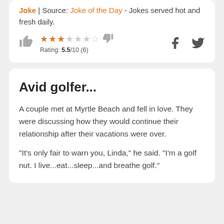Joke | Source: Joke of the Day - Jokes served hot and fresh daily.
Rating: 5.5/10 (6)
Avid golfer...
A couple met at Myrtle Beach and fell in love. They were discussing how they would continue their relationship after their vacations were over.
"It's only fair to warn you, Linda," he said. "I'm a golf nut. I live...eat...sleep...and breathe golf."